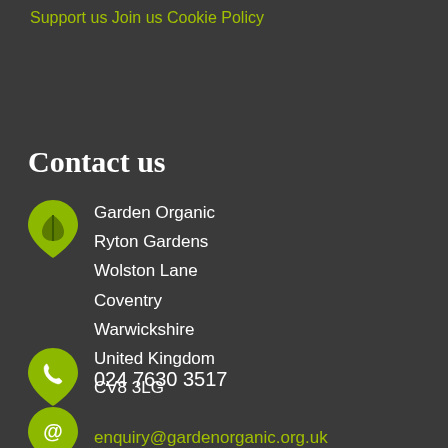Support us
Join us
Cookie Policy
Contact us
Garden Organic
Ryton Gardens
Wolston Lane
Coventry
Warwickshire
United Kingdom
CV8 3LG
024 7630 3517
enquiry@gardenorganic.org.uk